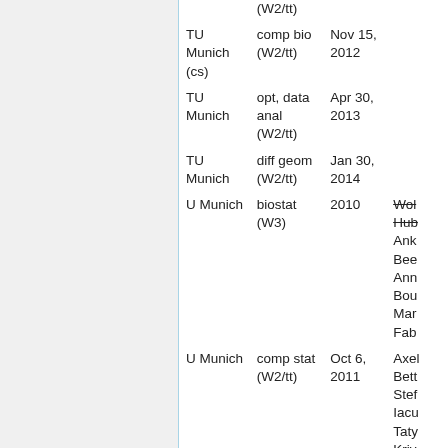| Institution | Field | Date | Names |
| --- | --- | --- | --- |
|  | (W2/tt) |  |  |
| TU Munich (cs) | comp bio (W2/tt) | Nov 15, 2012 |  |
| TU Munich | opt, data anal (W2/tt) | Apr 30, 2013 |  |
| TU Munich | diff geom (W2/tt) | Jan 30, 2014 |  |
| U Munich | biostat (W3) | 2010 | Wol... Hub... Ank... Bee... Ann... Bou... Mar... Fab... |
| U Munich | comp stat (W2/tt) | Oct 6, 2011 | Axel... Bett... Stef... Iacu... Taty... Kriv... Ger... |